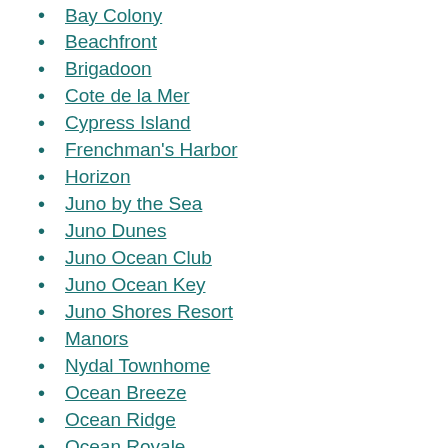Bay Colony
Beachfront
Brigadoon
Cote de la Mer
Cypress Island
Frenchman's Harbor
Horizon
Juno by the Sea
Juno Dunes
Juno Ocean Club
Juno Ocean Key
Juno Shores Resort
Manors
Nydal Townhome
Ocean Breeze
Ocean Ridge
Ocean Royale